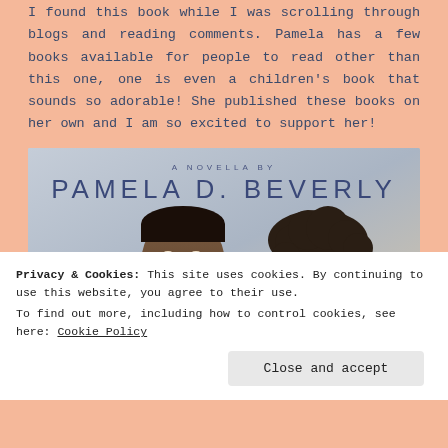I found this book while I was scrolling through blogs and reading comments. Pamela has a few books available for people to read other than this one, one is even a children's book that sounds so adorable! She published these books on her own and I am so excited to support her!
[Figure (illustration): Book cover for a novella by Pamela D. Beverly, showing illustrated portraits of two people — a man and a woman — against a muted blue-grey background.]
Privacy & Cookies: This site uses cookies. By continuing to use this website, you agree to their use. To find out more, including how to control cookies, see here: Cookie Policy